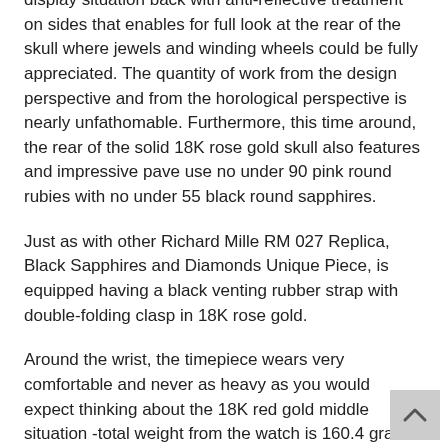display situation back with anti-reflective treatment on sides that enables for full look at the rear of the skull where jewels and winding wheels could be fully appreciated. The quantity of work from the design perspective and from the horological perspective is nearly unfathomable. Furthermore, this time around, the rear of the solid 18K rose gold skull also features and impressive pave use no under 90 pink round rubies with no under 55 black round sapphires.
Just as with other Richard Mille RM 027 Replica, Black Sapphires and Diamonds Unique Piece, is equipped having a black venting rubber strap with double-folding clasp in 18K rose gold.
Around the wrist, the timepiece wears very comfortable and never as heavy as you would expect thinking about the 18K red gold middle situation -total weight from the watch is 160.4 grams. The timepiece does put on high in wrist however with a wrist presence that's just using this world. This excellent piece is solely offered at Richard Mille RM 027 Replica, unless of course it was already offered following the publishing of the